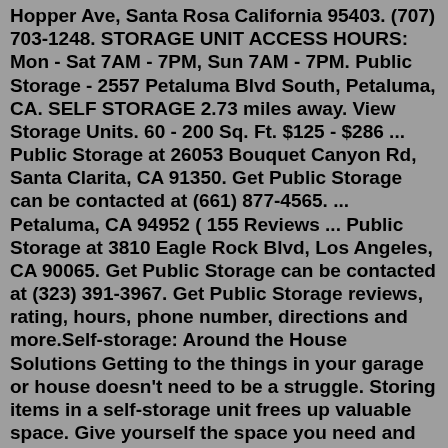Hopper Ave, Santa Rosa California 95403. (707) 703-1248. STORAGE UNIT ACCESS HOURS: Mon - Sat 7AM - 7PM, Sun 7AM - 7PM. Public Storage - 2557 Petaluma Blvd South, Petaluma, CA. SELF STORAGE 2.73 miles away. View Storage Units. 60 - 200 Sq. Ft. $125 - $286 ... Public Storage at 26053 Bouquet Canyon Rd, Santa Clarita, CA 91350. Get Public Storage can be contacted at (661) 877-4565. ... Petaluma, CA 94952 ( 155 Reviews ... Public Storage at 3810 Eagle Rock Blvd, Los Angeles, CA 90065. Get Public Storage can be contacted at (323) 391-3967. Get Public Storage reviews, rating, hours, phone number, directions and more.Self-storage: Around the House Solutions Getting to the things in your garage or house doesn't need to be a struggle. Storing items in a self-storage unit frees up valuable space. Give yourself the space you need and rent a low cost storage unit with 24 hour access today. Self-Storage: For a Business Petaluma, off of Lakeville Street near where Highway 101 crosses the Petaluma River. The